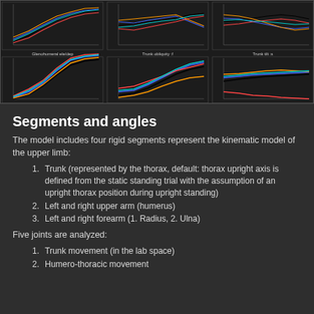[Figure (continuous-plot): Grid of 6 line charts showing biomechanical motion data including Glenohumeral ele/dep, Trunk obliquity :f, Trunk tilt :s, and 3 unlabeled upper charts. Multiple colored lines (red, blue, black, orange, cyan) plotted over % cycle axis.]
Segments and angles
The model includes four rigid segments represent the kinematic model of the upper limb:
Trunk (represented by the thorax, default: thorax upright axis is defined from the static standing trial with the assumption of an upright thorax position during upright standing)
Left and right upper arm (humerus)
Left and right forearm (1. Radius, 2. Ulna)
Five joints are analyzed:
Trunk movement (in the lab space)
Humero-thoracic movement